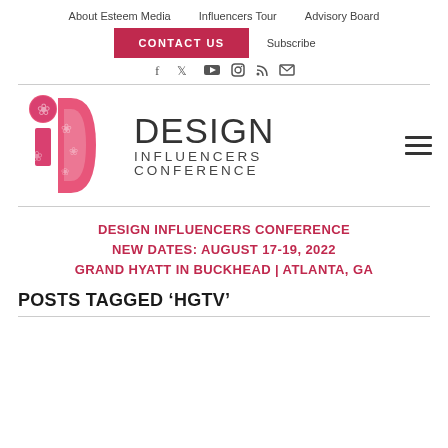About Esteem Media   Influencers Tour   Advisory Board
CONTACT US   Subscribe
[Figure (other): Social media icons row: Facebook, Twitter, YouTube, Instagram, RSS, Email]
[Figure (logo): Design Influencers Conference logo: pink floral 'di' monogram with large text DESIGN INFLUENCERS CONFERENCE]
DESIGN INFLUENCERS CONFERENCE NEW DATES: AUGUST 17-19, 2022 GRAND HYATT IN BUCKHEAD | ATLANTA, GA
POSTS TAGGED ‘HGTV’